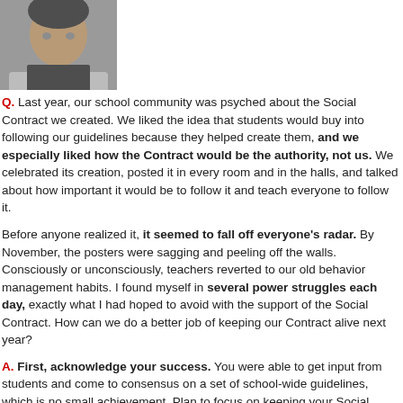[Figure (photo): Headshot of a man in a light jacket against a neutral background]
Q. Last year, our school community was psyched about the Social Contract we created. We liked the idea that students would buy into following our guidelines because they helped create them, and we especially liked how the Contract would be the authority, not us. We celebrated its creation, posted it in every room and in the halls, and talked about how important it would be to follow it and teach everyone to follow it.

Before anyone realized it, it seemed to fall off everyone's radar. By November, the posters were sagging and peeling off the walls. Consciously or unconsciously, teachers reverted to our old behavior management habits. I found myself in several power struggles each day, exactly what I had hoped to avoid with the support of the Social Contract. How can we do a better job of keeping our Contract alive next year?

A. First, acknowledge your success. You were able to get input from students and come to consensus on a set of school-wide guidelines, which is no small achievement. Plan to focus on keeping your Social Contract alive next year (see below).

Remember that growth is incremental. It takes time for teachers to develop the habit of relying on the Social Contract, invoking it regularly and consistently.